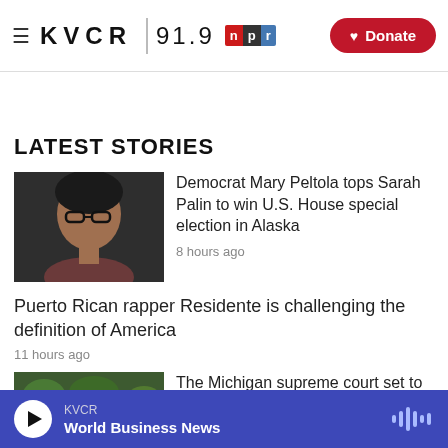KVCR 91.9 npr | Donate
LATEST STORIES
[Figure (photo): Portrait photo of Mary Peltola, a woman with glasses and dark hair]
Democrat Mary Peltola tops Sarah Palin to win U.S. House special election in Alaska
8 hours ago
Puerto Rican rapper Residente is challenging the definition of America
11 hours ago
[Figure (photo): Outdoor photo, partially visible, related to Michigan supreme court story]
The Michigan supreme court set to
KVCR | World Business News